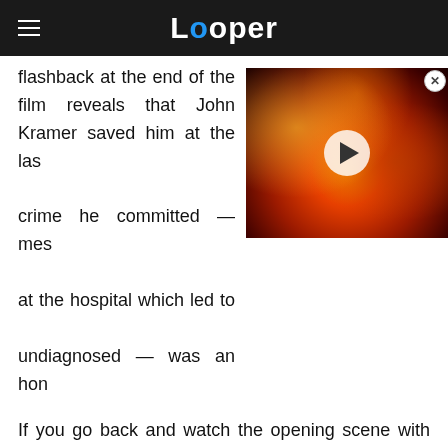Looper
flashback at the end of the film reveals that John Kramer saved him at the last moment — because the crime he committed — messing with the medication at the hospital which led to his cancer going undiagnosed — was an honest mistake.
[Figure (screenshot): Video thumbnail showing fire/flames with a play button overlay]
If you go back and watch the opening scene with the buzzsaws again, you'll notice that as Victim #5 is being pulled into the wall, the camera pans away to avoid showing his non-death. During your first watch, you may not have given this a second thought. But the fact that we don't see Victim #5 being killed is a huge clue that he is not actually dead. The "Saw"